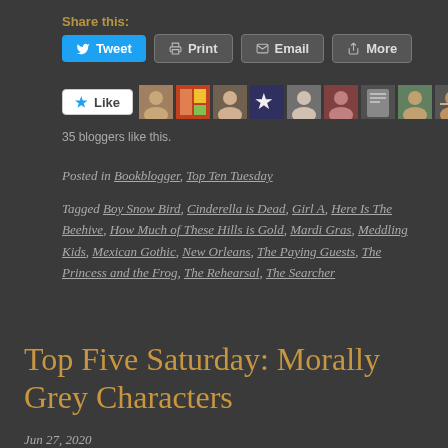Share this:
Tweet  Print  Email  More
[Figure (other): Like button and blogger avatar thumbnails row with 35 blogger avatars]
35 bloggers like this.
Posted in Bookblogger, Top Ten Tuesday
Tagged Boy Snow Bird, Cinderella is Dead, Girl A, Here Is The Beehive, How Much of These Hills is Gold, Mardi Gras, Meddling Kids, Mexican Gothic, New Orleans, The Paying Guests, The Princess and the Frog, The Rehearsal, The Searcher
Top Five Saturday: Morally Grey Characters
Jun 27, 2020